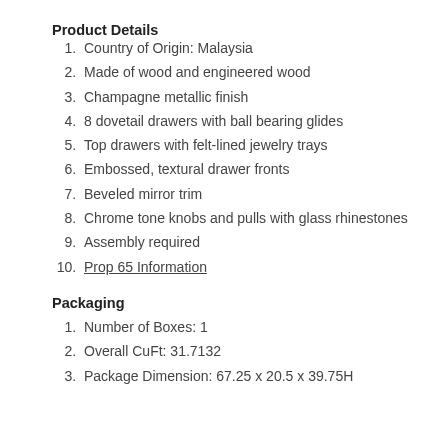Product Details
Country of Origin: Malaysia
Made of wood and engineered wood
Champagne metallic finish
8 dovetail drawers with ball bearing glides
Top drawers with felt-lined jewelry trays
Embossed, textural drawer fronts
Beveled mirror trim
Chrome tone knobs and pulls with glass rhinestones
Assembly required
Prop 65 Information
Packaging
Number of Boxes: 1
Overall CuFt: 31.7132
Package Dimension: 67.25 x 20.5 x 39.75H